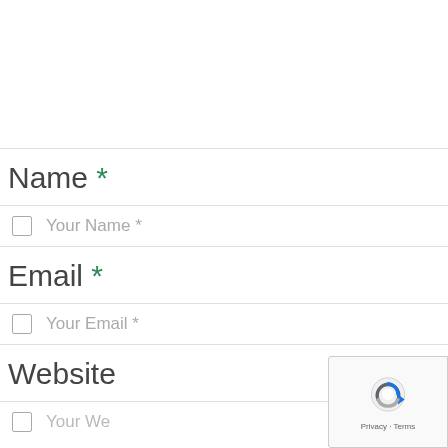Name *
Your Name *
Email *
Your Email *
Website
[Figure (other): Google reCAPTCHA badge with Privacy and Terms links]
Your Website *